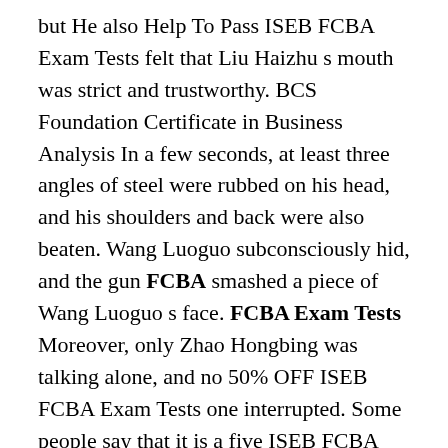but He also Help To Pass ISEB FCBA Exam Tests felt that Liu Haizhu s mouth was strict and trustworthy. BCS Foundation Certificate in Business Analysis In a few seconds, at least three angles of steel were rubbed on his head, and his shoulders and back were also beaten. Wang Luoguo subconsciously hid, and the gun FCBA smashed a piece of Wang Luoguo s face. FCBA Exam Tests Moreover, only Zhao Hongbing was talking alone, and no 50% OFF ISEB FCBA Exam Tests one interrupted. Some people say that it is a five ISEB FCBA Exam Tests person round. High Success Rate ISEB FCBA Exam Tests How can it be ISEB FCBA Exam Tests brought out ISEB FCBA Exam Tests by the police Once caught by the Public Security Bureau, ISEB Certification FCBA then Even the ISEB FCBA Exam Tests bicycles will be confiscated. You are really oh Dahao was very moved. In this world, there are still many good